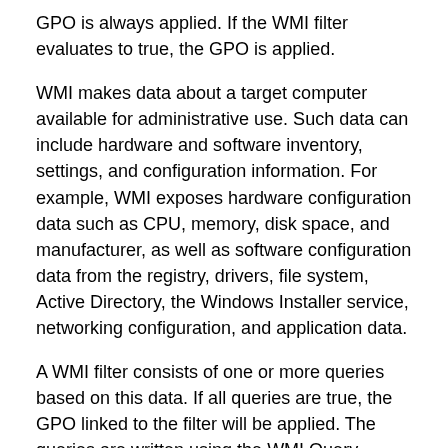GPO is always applied. If the WMI filter evaluates to true, the GPO is applied.
WMI makes data about a target computer available for administrative use. Such data can include hardware and software inventory, settings, and configuration information. For example, WMI exposes hardware configuration data such as CPU, memory, disk space, and manufacturer, as well as software configuration data from the registry, drivers, file system, Active Directory, the Windows Installer service, networking configuration, and application data.
A WMI filter consists of one or more queries based on this data. If all queries are true, the GPO linked to the filter will be applied. The queries are written using the WMI Query Language (WQL), a SQL-like language. Queries can be combined with AND and OR logical operators to achieve whatever effect the administrator wants. Each query is executed against a particular WMI namespace. When you